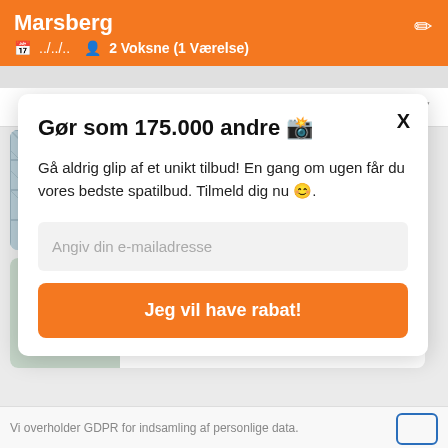Marsberg
../.../..  2 Voksne (1 Værelse)
Popularitet (høj) ↓
Welcome Hotel Bad Arolsen
Gør som 175.000 andre 🏨
Gå aldrig glip af et unikt tilbud! En gang om ugen får du vores bedste spatilbud. Tilmeld dig nu 🙂.
Angiv din e-mailadresse
Jeg vil have rabat!
Vi overholder GDPR for indsamling af personlige data.